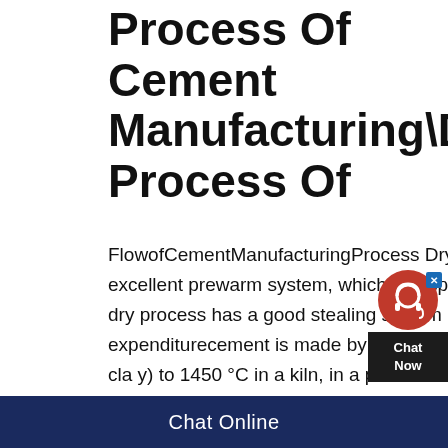Process Of Cement Manufacturing\Dry Process Of
FlowofCementManufacturingProcess Dry Process Method's Advantages The dry process has an excellent prewarm system, which can speed up the rotation of kiln in operation to raise the yield The dry process has a good stealing system It can take full advantage of waste heat to lower the running expenditurecement is made by heating limestone (calcium carbonate) with other materials (such as cla y) to 1450 °C in a kiln, in a process known as calcinations, whereby a molecule of carbon dioxide is(PDF) Cement Manufacturing ResearchGateThe Cement Production Flow Sheet By the dry process [2] 2 Types of wastes
[Figure (other): Red circular chat support widget with headset icon and 'Chat Now' label on dark background, with blue X close button]
Chat Online